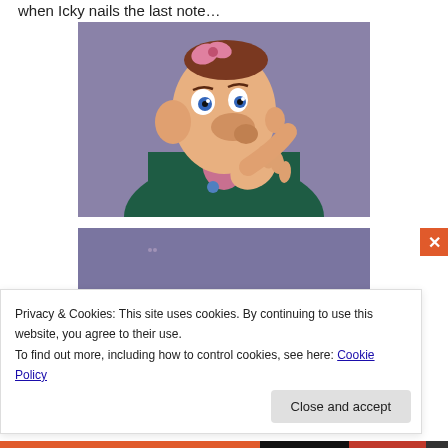when Icky nails the last note…
[Figure (photo): Animated cartoon character with large nose, big ears, pink bow in hair, wearing dark green jacket with pink collar, hand raised to chin, looking surprised, against purple background]
[Figure (photo): Partial view of animated scene with purple background, green and orange shapes visible at the bottom]
Privacy & Cookies: This site uses cookies. By continuing to use this website, you agree to their use.
To find out more, including how to control cookies, see here: Cookie Policy
Close and accept